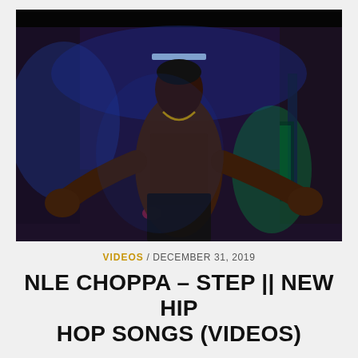[Figure (photo): A shirtless tattooed young man in a dark hallway illuminated by blue and green neon lights, extending his arms toward the camera in a hip-hop pose from a music video]
VIDEOS / DECEMBER 31, 2019
NLE CHOPPA – STEP || NEW HIP HOP SONGS (VIDEOS)